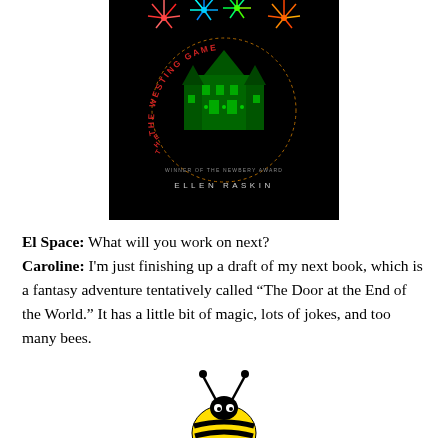[Figure (illustration): Book cover of 'The Westing Game' by Ellen Raskin. Black background with a green illustrated mansion in the center, colorful fireworks above, and the title in red curved text around the mansion. Text at bottom reads 'WINNER OF THE NEWBERY AWARD' and 'ELLEN RASKIN'.]
El Space: What will you work on next?
Caroline: I'm just finishing up a draft of my next book, which is a fantasy adventure tentatively called “The Door at the End of the World.” It has a little bit of magic, lots of jokes, and too many bees.
[Figure (illustration): Cartoon illustration of a yellow bee with black antennae, partially visible at the bottom of the page.]